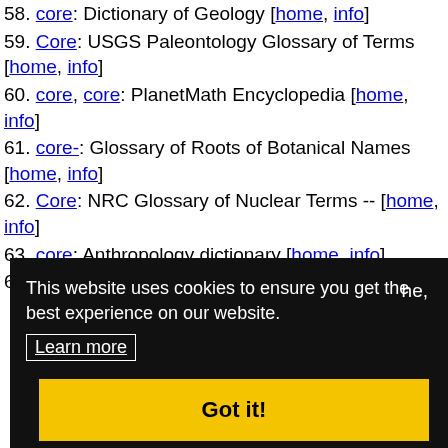58. core: Dictionary of Geology [home, info]
59. Core: USGS Paleontology Glossary of Terms [home, info]
60. core, core: PlanetMath Encyclopedia [home, info]
61. core-: Glossary of Roots of Botanical Names [home, info]
62. Core: NRC Glossary of Nuclear Terms -- [home, info]
63. core: Anthropology dictionary [home, info]
64. core: Natural History Terms [home, info]
This website uses cookies to ensure you get the best experience on our website. Learn more Got it!